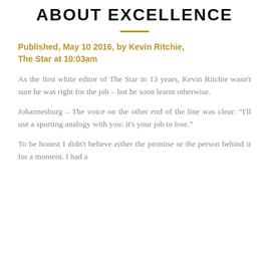ABOUT EXCELLENCE
Published, May 10 2016, by Kevin Ritchie, The Star at 10:03am
As the first white editor of The Star in 13 years, Kevin Ritchie wasn't sure he was right for the job – but he soon learnt otherwise.
Johannesburg – The voice on the other end of the line was clear: “I'll use a sporting analogy with you: it's your job to lose.”
To be honest I didn't believe either the promise or the person behind it for a moment. I had a